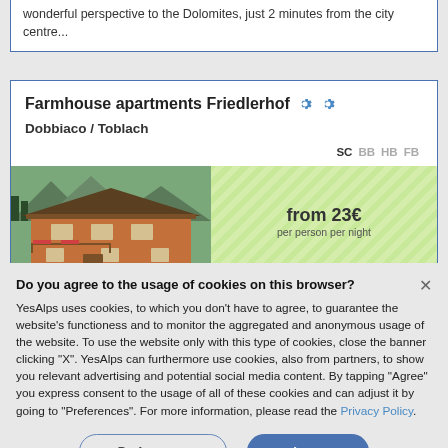wonderful perspective to the Dolomites, just 2 minutes from the city centre...
Farmhouse apartments Friedlerhof
Dobbiaco / Toblach
SC BB HB FB
[Figure (photo): Photo of a farmhouse building with wooden chalet-style architecture against mountain backdrop]
from 23€ per person per night
Do you agree to the usage of cookies on this browser? YesAlps uses cookies, to which you don't have to agree, to guarantee the website's functioness and to monitor the aggregated and anonymous usage of the website. To use the website only with this type of cookies, close the banner clicking "X". YesAlps can furthermore use cookies, also from partners, to show you relevant advertising and potential social media content. By tapping "Agree" you express consent to the usage of all of these cookies and can adjust it by going to "Preferences". For more information, please read the Privacy Policy.